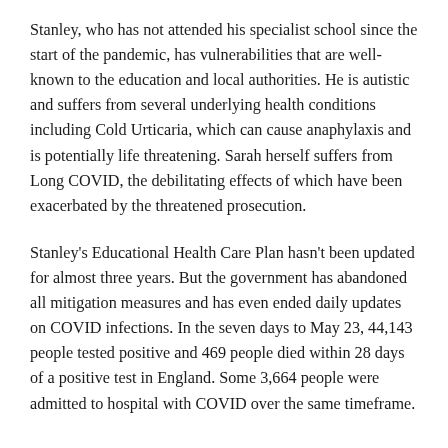Stanley, who has not attended his specialist school since the start of the pandemic, has vulnerabilities that are well-known to the education and local authorities. He is autistic and suffers from several underlying health conditions including Cold Urticaria, which can cause anaphylaxis and is potentially life threatening. Sarah herself suffers from Long COVID, the debilitating effects of which have been exacerbated by the threatened prosecution.
Stanley's Educational Health Care Plan hasn't been updated for almost three years. But the government has abandoned all mitigation measures and has even ended daily updates on COVID infections. In the seven days to May 23, 44,143 people tested positive and 469 people died within 28 days of a positive test in England. Some 3,664 people were admitted to hospital with COVID over the same timeframe.